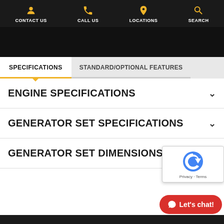CONTACT US | CALL US | LOCATIONS | SEARCH
SPECIFICATIONS
STANDARD/OPTIONAL FEATURES
ENGINE SPECIFICATIONS
GENERATOR SET SPECIFICATIONS
GENERATOR SET DIMENSIONS